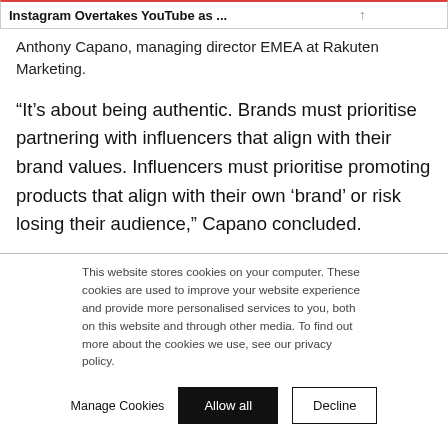Instagram Overtakes YouTube as ...
Anthony Capano, managing director EMEA at Rakuten Marketing.
“It’s about being authentic. Brands must prioritise partnering with influencers that align with their brand values. Influencers must prioritise promoting products that align with their own ‘brand’ or risk losing their audience,” Capano concluded.
This website stores cookies on your computer. These cookies are used to improve your website experience and provide more personalised services to you, both on this website and through other media. To find out more about the cookies we use, see our privacy policy.
Manage Cookies  Allow all  Decline